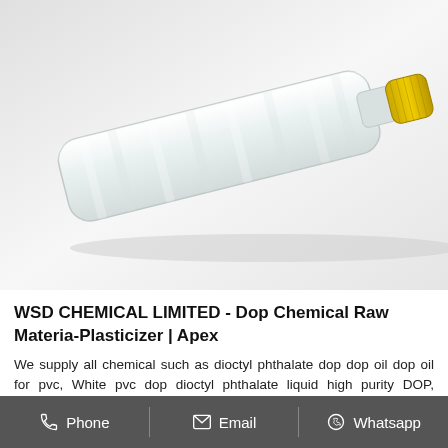[Figure (photo): A clear plastic bottle with a yellow cap lying on its side on a white/gray background. The bottle appears to contain a clear liquid (DOP plasticizer).]
WSD CHEMICAL LIMITED - Dop Chemical Raw Materia-Plasticizer | Apex
We supply all chemical such as dioctyl phthalate dop dop oil dop oil for pvc, White pvc dop dioctyl phthalate liquid high purity DOP, Environmental... Apex has several types of
Phone   Email   Whatsapp